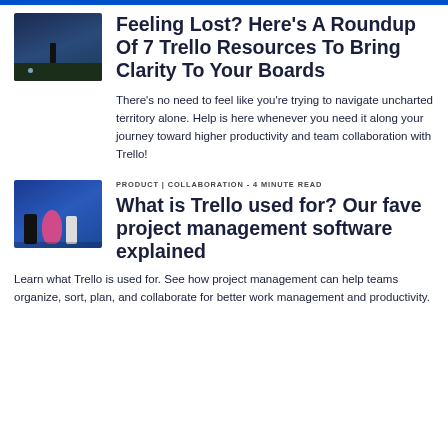[Figure (illustration): Small thumbnail showing a dark night scene with a silhouette figure and green ground]
Feeling Lost? Here's A Roundup Of 7 Trello Resources To Bring Clarity To Your Boards
There's no need to feel like you're trying to navigate uncharted territory alone. Help is here whenever you need it along your journey toward higher productivity and team collaboration with Trello!
[Figure (illustration): Small thumbnail showing cartoon characters including a person in a pink bear/monster costume on a blue background]
PRODUCT | COLLABORATION - 4 MINUTE READ
What is Trello used for? Our fave project management software explained
Learn what Trello is used for. See how project management can help teams organize, sort, plan, and collaborate for better work management and productivity.